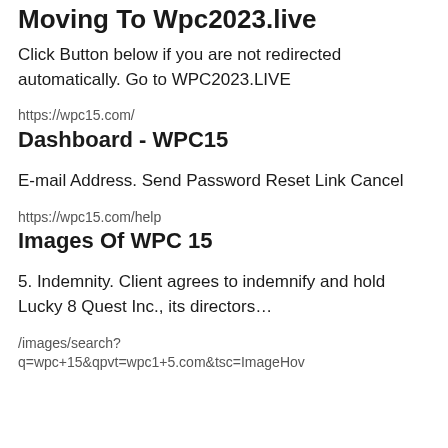Moving To Wpc2023.live
Click Button below if you are not redirected automatically. Go to WPC2023.LIVE
https://wpc15.com/
Dashboard - WPC15
E-mail Address. Send Password Reset Link Cancel
https://wpc15.com/help
Images Of WPC 15
5. Indemnity. Client agrees to indemnify and hold Lucky 8 Quest Inc., its directors…
/images/search?
q=wpc+15&qpvt=wpc1+5.com&tsc=ImageHov